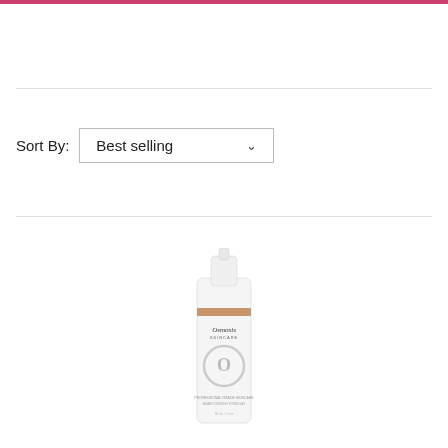Sort By:  Best selling
[Figure (photo): Osmosis skincare product bottle — white cylindrical pump bottle with rose gold band and Osmosis logo with large circular O emblem]